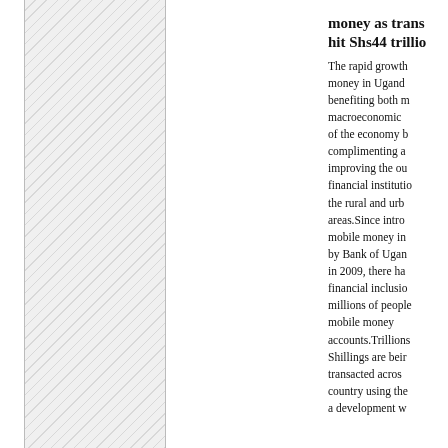[Figure (photo): Hatched/diagonal pattern placeholder representing an image on the left side of the page layout]
money as trans hit Shs44 trillion
The rapid growth money in Uganda benefiting both m macroeconomic of the economy b complimenting a improving the ou financial institutio the rural and urb areas.Since intro mobile money in by Bank of Ugan in 2009, there ha financial inclusio millions of people mobile money accounts.Trillions Shillings are beir transacted acros country using the a development w